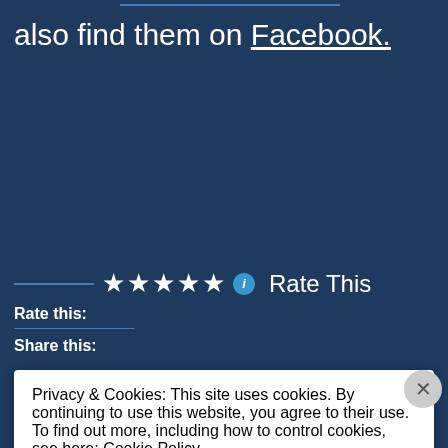also find them on Facebook.
★★★★★ ⓘ Rate This
Rate this:
Share this:
Privacy & Cookies: This site uses cookies. By continuing to use this website, you agree to their use.
To find out more, including how to control cookies, see here: Cookie Policy
Close and accept